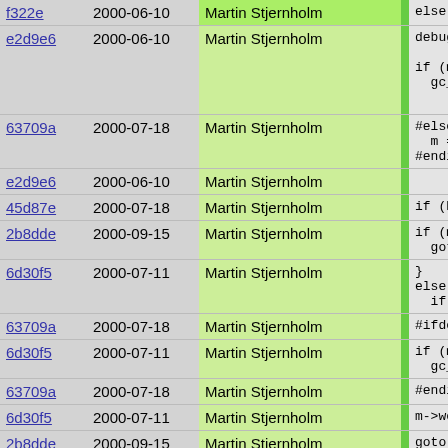| Hash | Date | Author |  | Code |
| --- | --- | --- | --- | --- |
| f322e | 2000-06-10 | Martin Stjernholm |  | else m ... |
| e2d9e6 | 2000-06-10 | Martin Stjernholm |  | debug_mal...

if (m->wea
  gc_fata |
| 63709a | 2000-07-18 | Martin Stjernholm |  | #else
  m = get_ma
#endif |
| e2d9e6 | 2000-06-10 | Martin Stjernholm |  |  |
| 45d87e | 2000-07-18 | Martin Stjernholm |  | if (Pike_ |
| 2b8dde | 2000-09-15 | Martin Stjernholm |  | if (m->w
  goto s |
| 6d30f5 | 2000-07-11 | Martin Stjernholm |  | }
else
  if (!(m |
| 63709a | 2000-07-18 | Martin Stjernholm |  | #ifdef PIKE_ |
| 6d30f5 | 2000-07-11 | Martin Stjernholm |  | if (m-
  gc_f |
| 63709a | 2000-07-18 | Martin Stjernholm |  | #endif |
| 6d30f5 | 2000-07-11 | Martin Stjernholm |  | m->wea |
| 2b8dde | 2000-09-15 | Martin Stjernholm |  | goto s |
| 6d30f5 | 2000-07-11 | Martin Stjernholm |  | } |